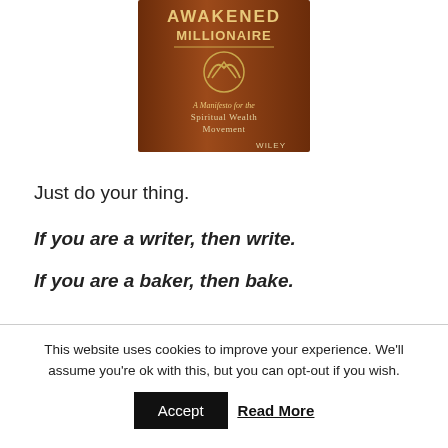[Figure (illustration): Book cover of 'Awakened Millionaire: A Manifesto for the Spiritual Wealth Movement' published by Wiley, brown leather-look cover with AW logo]
Just do your thing.
If you are a writer, then write.
If you are a baker, then bake.
This website uses cookies to improve your experience. We'll assume you're ok with this, but you can opt-out if you wish.
Accept  Read More